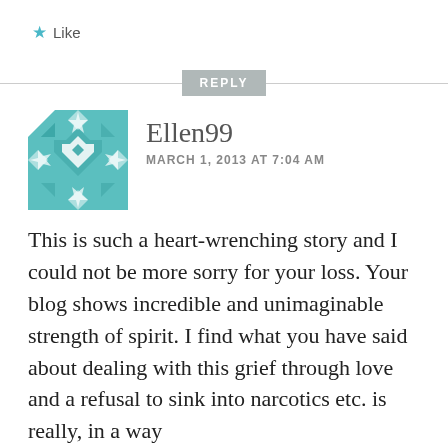★ Like
REPLY
[Figure (illustration): Teal/turquoise geometric quilt-star avatar icon for user Ellen99]
Ellen99
MARCH 1, 2013 AT 7:04 AM
This is such a heart-wrenching story and I could not be more sorry for your loss. Your blog shows incredible and unimaginable strength of spirit. I find what you have said about dealing with this grief through love and a refusal to sink into narcotics etc. is really, in a way